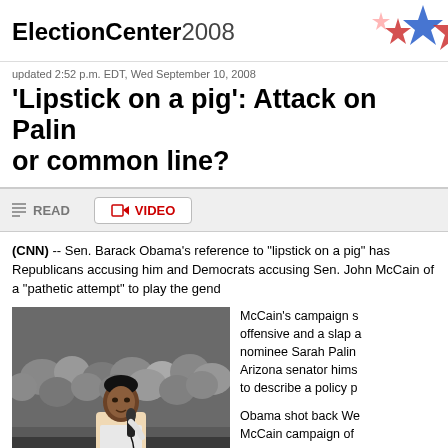ElectionCenter2008
updated 2:52 p.m. EDT, Wed September 10, 2008
'Lipstick on a pig': Attack on Palin or common line?
READ | VIDEO
(CNN) -- Sen. Barack Obama's reference to "lipstick on a pig" has Republicans accusing him and Democrats accusing Sen. John McCain of a "pathetic attempt" to play the gender card.
[Figure (photo): Photo of Sen. Barack Obama speaking at a rally, holding a microphone, crowd in background]
McCain's campaign said the comment was offensive and a slap at vice presidential nominee Sarah Palin, even though the Arizona senator himself used that exact phrase to describe a policy previously.

Obama shot back Wednesday, accusing the McCain campaign of engaging in swift boat politics.

"I don't think...